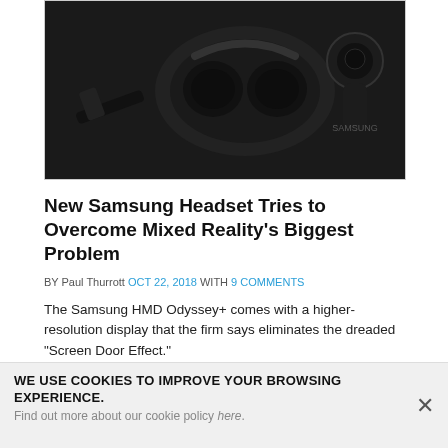[Figure (photo): Samsung HMD Odyssey+ VR headset and controllers on dark background, top portion visible]
New Samsung Headset Tries to Overcome Mixed Reality's Biggest Problem
BY Paul Thurrott OCT 22, 2018 WITH 9 COMMENTS
The Samsung HMD Odyssey+ comes with a higher-resolution display that the firm says eliminates the dreaded "Screen Door Effect."
[Figure (photo): Samsung HMD Odyssey+ VR headset close-up showing head strap and visor, partially visible]
WE USE COOKIES TO IMPROVE YOUR BROWSING EXPERIENCE.
Find out more about our cookie policy here.